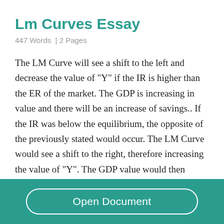Lm Curves Essay
447 Words  | 2 Pages
The LM Curve will see a shift to the left and decrease the value of "Y" if the IR is higher than the ER of the market. The GDP is increasing in value and there will be an increase of savings.. If the IR was below the equilibrium, the opposite of the previously stated would occur. The LM Curve would see a shift to the right, therefore increasing the value of "Y". The GDP value would then
Open Document